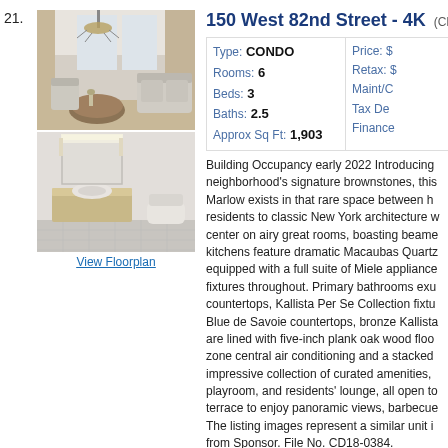21.
[Figure (photo): Living room interior with chandelier, round dining table, sofa, and large windows with curtains]
[Figure (photo): Modern bathroom with vanity, illuminated mirror, wall-mounted toilet, and tiled floor]
View Floorplan
150 West 82nd Street - 4K
(Click ad
| Field | Value | Field | Value |
| --- | --- | --- | --- |
| Type: | CONDO | Price: | $ |
| Rooms: | 6 | Retax: | $ |
| Beds: | 3 | Maint/C |  |
| Baths: | 2.5 | Tax De |  |
| Approx Sq Ft: | 1,903 | Finance |  |
Building Occupancy early 2022 Introducing neighborhood's signature brownstones, this Marlow exists in that rare space between h residents to classic New York architecture w center on airy great rooms, boasting beame kitchens feature dramatic Macaubas Quartz equipped with a full suite of Miele appliance fixtures throughout. Primary bathrooms exu countertops, Kallista Per Se Collection fixtu Blue de Savoie countertops, bronze Kallista are lined with five-inch plank oak wood floo zone central air conditioning and a stacked impressive collection of curated amenities, playroom, and residents' lounge, all open to terrace to enjoy panoramic views, barbecue The listing images represent a similar unit i from Sponsor. File No. CD18-0384.
22.
[Figure (photo): Interior ceiling detail showing coffered ceiling and windows]
465 West 23rd Street - 17A
(Click ad
| Field | Value | Field | Value |
| --- | --- | --- | --- |
| Type: | COOP | Price: | $ |
| Rooms: | 4 | Retax: |  |